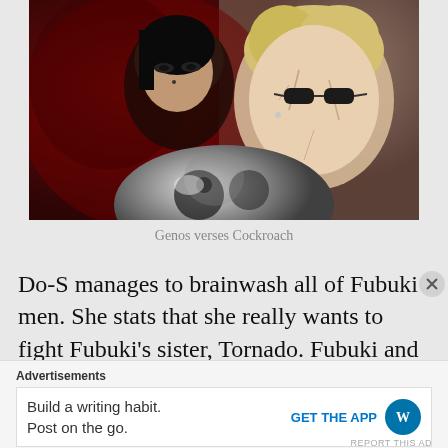[Figure (illustration): Anime screenshot showing two characters: a dark-haired figure on the left with a menacing expression against a dark red/maroon background, and a blonde character on the right with cracked skin markings and sunglasses, facing left. A metallic spherical object is visible at the bottom center.]
Genos verses Cockroach
Do-S manages to brainwash all of Fubuki men. She stats that she really wants to fight Fubuki’s sister, Tornado. Fubuki and Do-S notice the destruction that Tornado
Advertisements
Build a writing habit. Post on the go.
GET THE APP